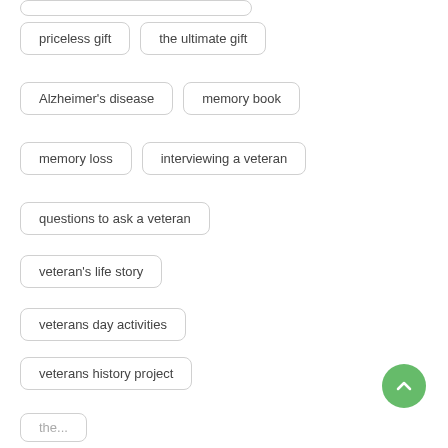priceless gift
the ultimate gift
Alzheimer's disease
memory book
memory loss
interviewing a veteran
questions to ask a veteran
veteran's life story
veterans day activities
veterans history project
writing a veterans life story
reminiscence is therapeutic